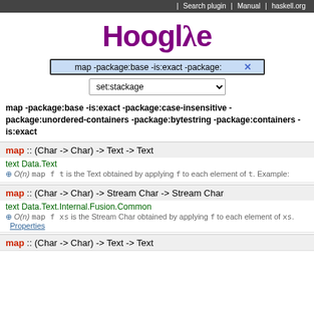Search plugin | Manual | haskell.org
[Figure (logo): Hoogle logo with lambda symbol]
map -package:base -is:exact -package:x (search input)
set:stackage (dropdown)
map -package:base -is:exact -package:case-insensitive -package:unordered-containers -package:bytestring -package:containers -is:exact
map :: (Char -> Char) -> Text -> Text
text Data.Text
O(n) map f t is the Text obtained by applying f to each element of t. Example:
map :: (Char -> Char) -> Stream Char -> Stream Char
text Data.Text.Internal.Fusion.Common
O(n) map f xs is the Stream Char obtained by applying f to each element of xs. Properties
map :: (Char -> Char) -> Text -> Text